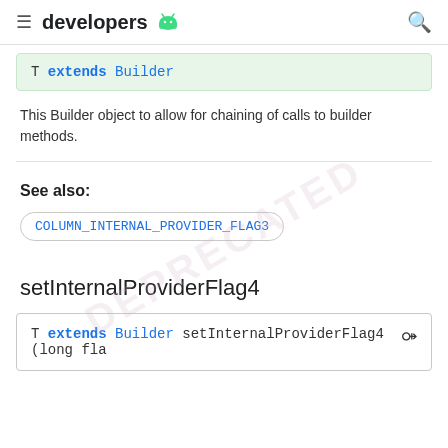developers
T extends Builder
This Builder object to allow for chaining of calls to builder methods.
See also:
COLUMN_INTERNAL_PROVIDER_FLAG3
setInternalProviderFlag4
T extends Builder setInternalProviderFlag4 (long fla